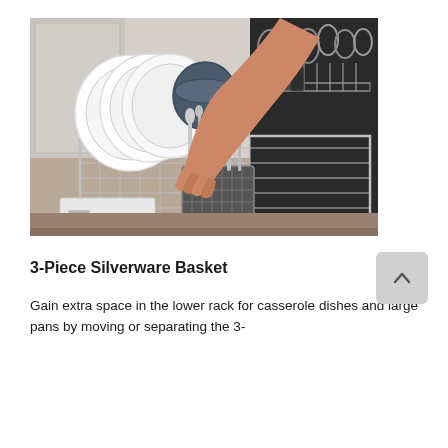[Figure (photo): A person's hand loading dishes and silverware into a dishwasher's lower rack and silverware basket. The dishwasher is open, showing white plates in the rack and utensils in the basket. Various other dishes and glasses are visible in the background.]
3-Piece Silverware Basket
Gain extra space in the lower rack for casserole dishes and large pans by moving or separating the 3-